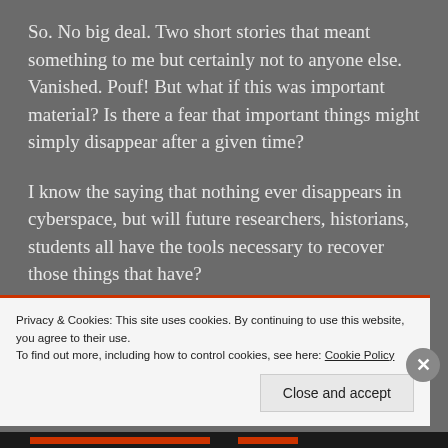So. No big deal. Two short stories that meant something to me but certainly not to anyone else. Vanished. Pouf! But what if this was important material? Is there a fear that important things might simply disappear after a given time?
I know the saying that nothing ever disappears in cyberspace, but will future researchers, historians, students all have the tools necessary to recover those things that have?
Granted there is much that is superfluous, so much that
Privacy & Cookies: This site uses cookies. By continuing to use this website, you agree to their use.
To find out more, including how to control cookies, see here: Cookie Policy
Close and accept